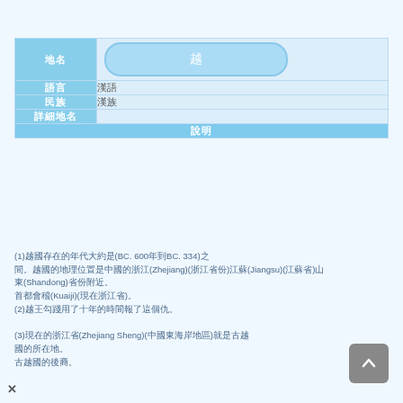|  |  |
| --- | --- |
| 地名 | 越 |
| 語言 | 漢語 |
| 民族 | 漢族 |
| 詳細地名 |  |
| 說明 |  |
(1)越國存在的年代大約是(BC. 600年到BC. 334)之間。越國的地理位置是中國的浙江(Zhejiang)(浙江省份)江蘇(Jiangsu)(江蘇省)山東(Shandong)省份附近。首都會稽(Kuaiji)(現在浙江省)。(2)越王勾踐用了十年的時間報了這個仇。(3)現在的浙江省(Zhejiang Sheng)(中國東海岸地區)就是古越國的所在地。古越國的後裔。